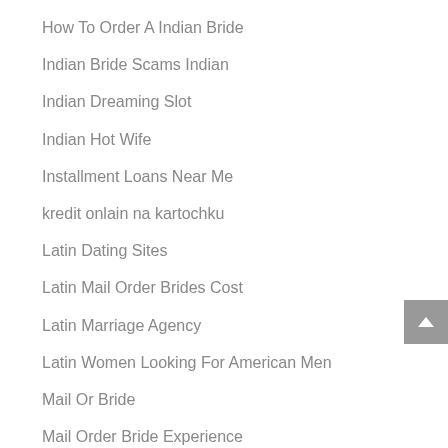How To Order A Indian Bride
Indian Bride Scams Indian
Indian Dreaming Slot
Indian Hot Wife
Installment Loans Near Me
kredit onlain na kartochku
Latin Dating Sites
Latin Mail Order Brides Cost
Latin Marriage Agency
Latin Women Looking For American Men
Mail Or Bride
Mail Order Bride Experience
mail order bride price